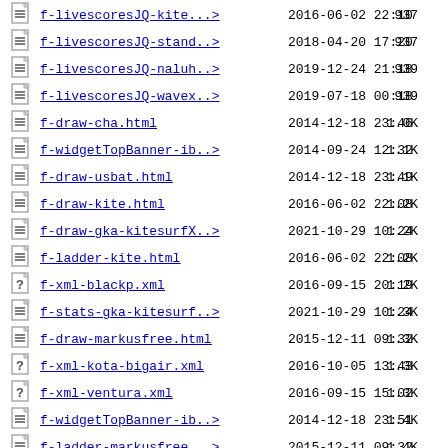f-livescoresJQ-kite...> 2016-06-02 22:10 937
f-livescoresJQ-stand..> 2018-04-20 17:20 937
f-livescoresJQ-naluh..> 2019-12-24 21:18 939
f-livescoresJQ-wavex..> 2019-07-18 00:18 939
f-draw-cha.html 2014-12-18 23:46 1.0K
f-widgetTopBanner-ib..> 2014-09-24 12:32 1.1K
f-draw-usbat.html 2014-12-18 23:49 1.1K
f-draw-kite.html 2016-06-02 22:08 1.2K
f-draw-gka-kitesurfX..> 2021-10-29 10:24 1.2K
f-ladder-kite.html 2016-06-02 22:08 1.2K
f-xml-blackp.xml 2016-09-15 20:19 1.2K
f-stats-gka-kitesurf..> 2021-10-29 10:24 1.3K
f-draw-markusfree.html 2015-12-11 09:32 1.3K
f-xml-kota-bigair.xml 2016-10-05 13:43 1.3K
f-xml-ventura.xml 2016-09-15 15:02 1.3K
f-widgetTopBanner-ib..> 2014-12-18 23:51 1.4K
f-ladder-markusfree...> 2015-12-11 09:32 1.4K